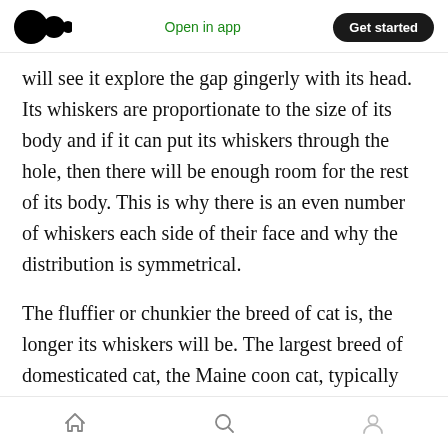Open in app | Get started
will see it explore the gap gingerly with its head. Its whiskers are proportionate to the size of its body and if it can put its whiskers through the hole, then there will be enough room for the rest of its body. This is why there is an even number of whiskers each side of their face and why the distribution is symmetrical.
The fluffier or chunkier the breed of cat is, the longer its whiskers will be. The largest breed of domesticated cat, the Maine coon cat, typically will have whiskers that span at least six inches. The longest recorded whiskers belonged to a
Home | Search | Profile